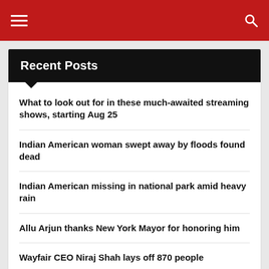Navigation bar with hamburger menu and search icon
Recent Posts
What to look out for in these much-awaited streaming shows, starting Aug 25
Indian American woman swept away by floods found dead
Indian American missing in national park amid heavy rain
Allu Arjun thanks New York Mayor for honoring him
Wayfair CEO Niraj Shah lays off 870 people